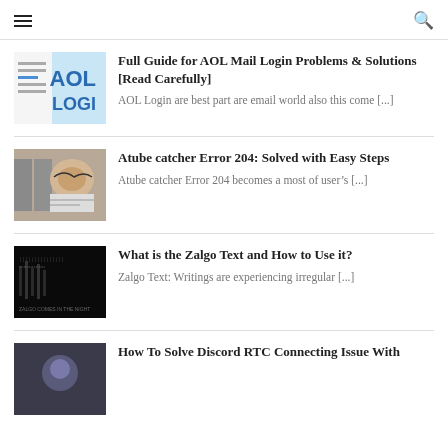≡   🔍
Full Guide for AOL Mail Login Problems & Solutions [Read Carefully]
AOL Login are best part are email world also this come [...]
Atube catcher Error 204: Solved with Easy Steps
Atube catcher Error 204 becomes a most of user's [...]
What is the Zalgo Text and How to Use it?
Zalgo Text: Writings are experiencing irregular [...]
How To Solve Discord RTC Connecting Issue With